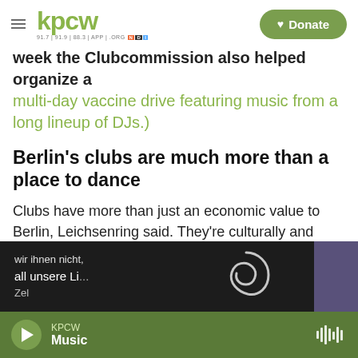KPCW — Donate
week the Clubcommission also helped organize a multi-day vaccine drive featuring music from a long lineup of DJs.)
Berlin's clubs are much more than a place to dance
Clubs have more than just an economic value to Berlin, Leichsenring said. They're culturally and socially significant too, as "an important safe space for a lot of communities."
[Figure (photo): Protest or event scene with German text 'wir ihnen nicht, all unsere Li...' partially visible, with a swirl logo and purple shapes on dark background]
KPCW Music